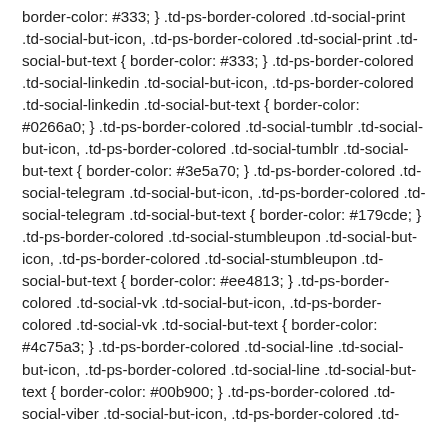border-color: #333; } .td-ps-border-colored .td-social-print .td-social-but-icon, .td-ps-border-colored .td-social-print .td-social-but-text { border-color: #333; } .td-ps-border-colored .td-social-linkedin .td-social-but-icon, .td-ps-border-colored .td-social-linkedin .td-social-but-text { border-color: #0266a0; } .td-ps-border-colored .td-social-tumblr .td-social-but-icon, .td-ps-border-colored .td-social-tumblr .td-social-but-text { border-color: #3e5a70; } .td-ps-border-colored .td-social-telegram .td-social-but-icon, .td-ps-border-colored .td-social-telegram .td-social-but-text { border-color: #179cde; } .td-ps-border-colored .td-social-stumbleupon .td-social-but-icon, .td-ps-border-colored .td-social-stumbleupon .td-social-but-text { border-color: #ee4813; } .td-ps-border-colored .td-social-vk .td-social-but-icon, .td-ps-border-colored .td-social-vk .td-social-but-text { border-color: #4c75a3; } .td-ps-border-colored .td-social-line .td-social-but-icon, .td-ps-border-colored .td-social-line .td-social-but-text { border-color: #00b900; } .td-ps-border-colored .td-social-viber .td-social-but-icon, .td-ps-border-colored .td-